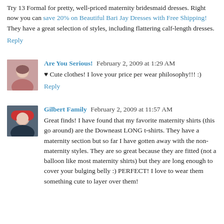Try 13 Formal for pretty, well-priced maternity bridesmaid dresses. Right now you can save 20% on Beautiful Bari Jay Dresses with Free Shipping! They have a great selection of styles, including flattering calf-length dresses.
Reply
Are You Serious! February 2, 2009 at 1:29 AM
♥ Cute clothes! I love your price per wear philosophy!!! :)
Reply
Gilbert Family February 2, 2009 at 11:57 AM
Great finds! I have found that my favorite maternity shirts (this go around) are the Downeast LONG t-shirts. They have a maternity section but so far I have gotten away with the non-maternity styles. They are so great because they are fitted (not a balloon like most maternity shirts) but they are long enough to cover your bulging belly :) PERFECT! I love to wear them something cute to layer over them!